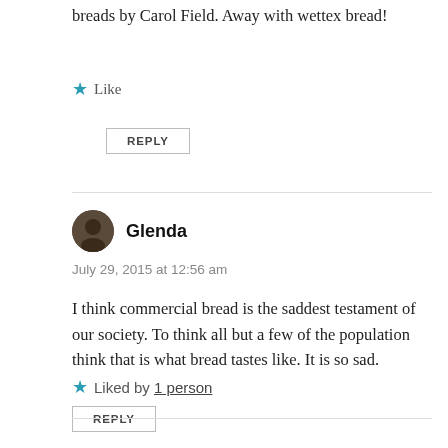breads by Carol Field. Away with wettex bread!
Like
REPLY
Glenda
July 29, 2015 at 12:56 am
I think commercial bread is the saddest testament of our society. To think all but a few of the population think that is what bread tastes like. It is so sad.
Liked by 1 person
REPLY